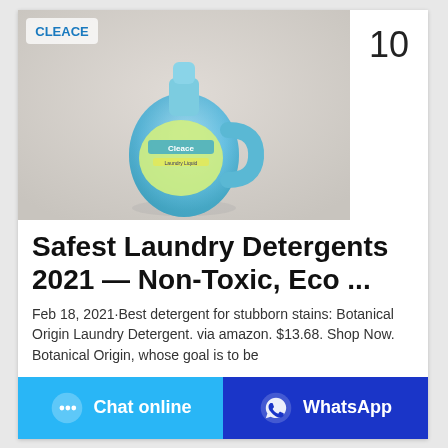[Figure (photo): Blue plastic laundry detergent bottle (Cleace brand) on a light gray background, with logo in upper left corner of image]
10
Safest Laundry Detergents 2021 — Non-Toxic, Eco ...
Feb 18, 2021·Best detergent for stubborn stains: Botanical Origin Laundry Detergent. via amazon. $13.68. Shop Now. Botanical Origin, whose goal is to be
Chat online
WhatsApp